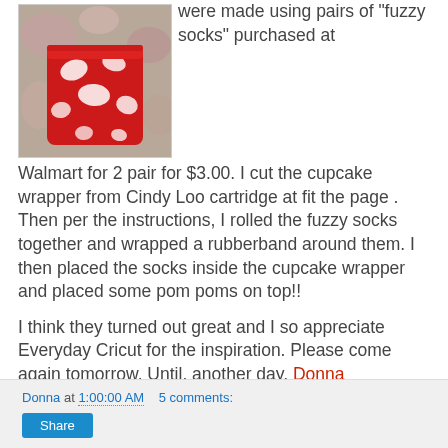[Figure (photo): Photo of a red and white patterned cupcake wrapper made from fuzzy socks, placed on a floral background.]
were made using pairs of "fuzzy socks" purchased at Walmart for 2 pair for $3.00. I cut the cupcake wrapper from Cindy Loo cartridge at fit the page . Then per the instructions, I rolled the fuzzy socks together and wrapped a rubberband around them. I then placed the socks inside the cupcake wrapper and placed some pom poms on top!!
I think they turned out great and I so appreciate Everyday Cricut for the inspiration. Please come again tomorrow. Until. another day, Donna
Donna at 1:00:00 AM   5 comments:   Share